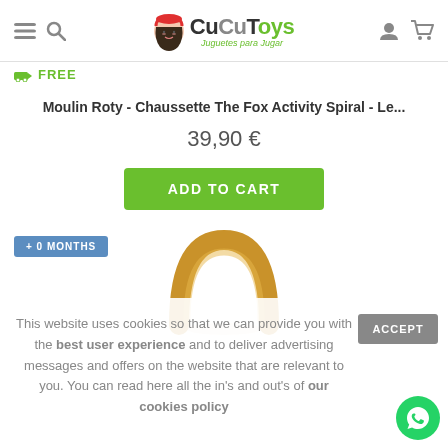CuCuToys - Juguetes para Jugar
FREE
Moulin Roty - Chaussette The Fox Activity Spiral - Le...
39,90 €
ADD TO CART
+ 0 MONTHS
[Figure (photo): Gold/yellow ring-shaped toy or teether ring partially visible]
This website uses cookies so that we can provide you with the best user experience and to deliver advertising messages and offers on the website that are relevant to you. You can read here all the in's and out's of our cookies policy
ACCEPT